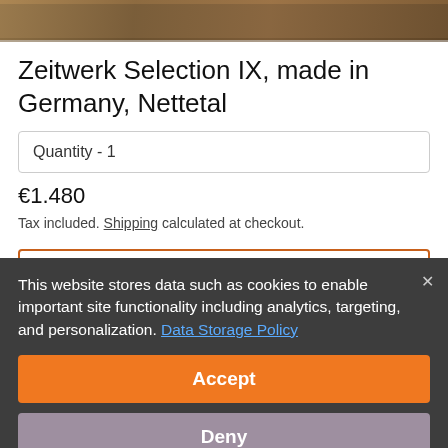[Figure (photo): Product image top strip showing wooden/natural texture background]
Zeitwerk Selection IX, made in Germany, Nettetal
Quantity - 1
€1.480
Tax included. Shipping calculated at checkout.
Add to cart
This website stores data such as cookies to enable important site functionality including analytics, targeting, and personalization. Data Storage Policy
Accept
Deny
Make your own! Select from these pieces and indi... English